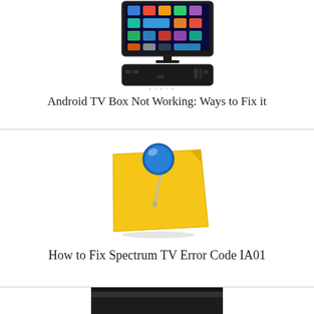[Figure (illustration): Android TV box with a TV screen showing colorful app icons above a black set-top box device]
Android TV Box Not Working: Ways to Fix it
[Figure (illustration): Yellow sticky note with a blue thumbtack/pin pushed through it]
How to Fix Spectrum TV Error Code IA01
[Figure (photo): Partial view of a third article image at the bottom of the page]